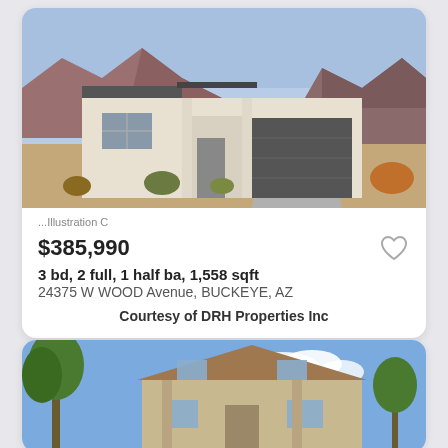[Figure (photo): Exterior photo of a single-story modern desert home with white stucco, dark garage door, and red mountains in background under blue sky]
...Illustration C
$385,990
3 bd, 2 full, 1 half ba, 1,558 sqft
24375 W WOOD Avenue, BUCKEYE, AZ
Courtesy of DRH Properties Inc
[Figure (photo): Exterior photo of a two-story tan/beige stucco home with green trees and blue sky with clouds]